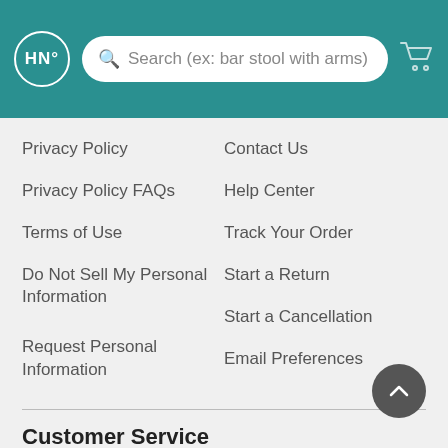HN° Search (ex: bar stool with arms)
Privacy Policy
Contact Us
Privacy Policy FAQs
Help Center
Terms of Use
Track Your Order
Do Not Sell My Personal Information
Start a Return
Start a Cancellation
Request Personal Information
Email Preferences
Customer Service
Mon - Fri : 9 am - 6 pm ET
Sat - Sun : Closed
Guest # 3766-80-1930